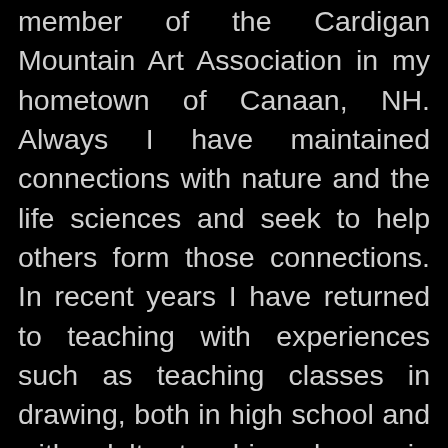member of the Cardigan Mountain Art Association in my hometown of Canaan, NH. Always I have maintained connections with nature and the life sciences and seek to help others form those connections. In recent years I have returned to teaching with experiences such as teaching classes in drawing, both in high school and with adults, teaching classes in arts and crafts at a day camp, and most recently, by teaching English to Speakers of Other Languages. With my English students, I teach English by way of my students' interests, which often veer toward learning about the natural world.